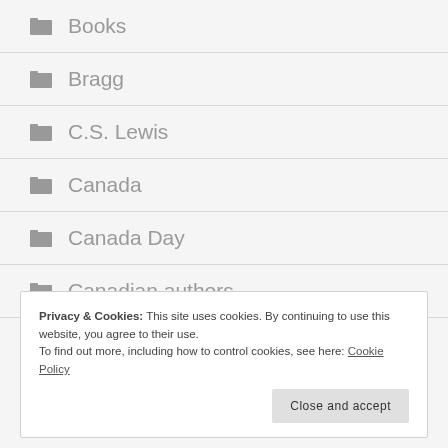Books
Bragg
C.S. Lewis
Canada
Canada Day
Canadian authors
Privacy & Cookies: This site uses cookies. By continuing to use this website, you agree to their use.
To find out more, including how to control cookies, see here: Cookie Policy
Close and accept